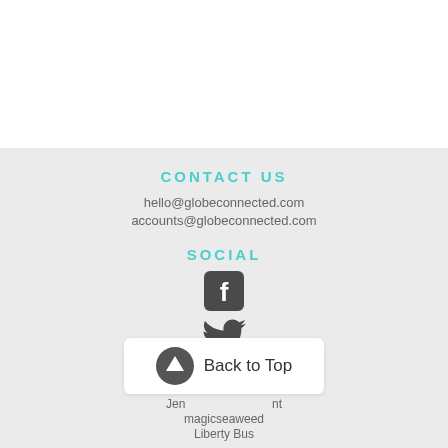CONTACT US
hello@globeconnected.com
accounts@globeconnected.com
SOCIAL
[Figure (illustration): Facebook icon (rounded square with white F)]
[Figure (illustration): Twitter bird icon]
[Figure (illustration): Back to Top button with up-arrow circle icon]
Jen ... nt
magicseaweed
Liberty Bus